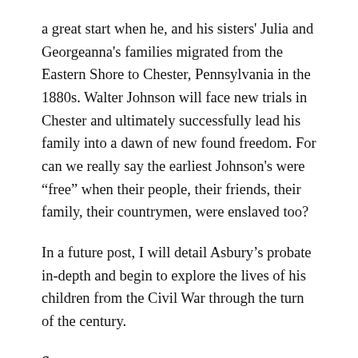a great start when he, and his sisters' Julia and Georgeanna's families migrated from the Eastern Shore to Chester, Pennsylvania in the 1880s. Walter Johnson will face new trials in Chester and ultimately successfully lead his family into a dawn of new found freedom. For can we really say the earliest Johnson's were “free” when their people, their friends, their family, their countrymen, were enslaved too?
In a future post, I will detail Asbury’s probate in-depth and begin to explore the lives of his children from the Civil War through the turn of the century.
Sources.